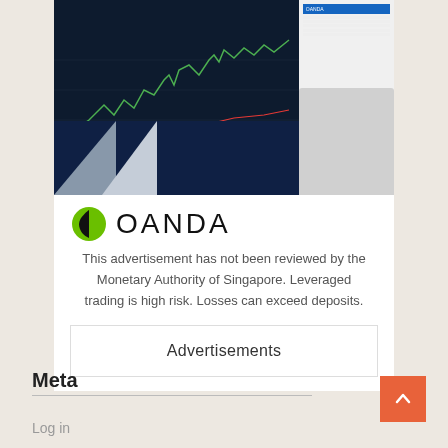[Figure (screenshot): OANDA trading platform advertisement showing a trading chart with candlestick/line chart on dark background, a right panel with white background, and dark blue decorative elements at bottom.]
[Figure (logo): OANDA logo with green circular icon and OANDA text in dark letters]
This advertisement has not been reviewed by the Monetary Authority of Singapore. Leveraged trading is high risk. Losses can exceed deposits.
Advertisements
Meta
Log in